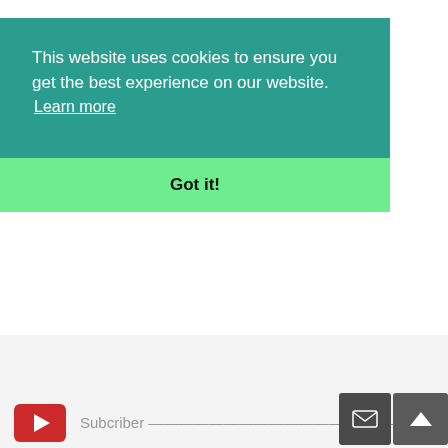This website uses cookies to ensure you get the best experience on our website.
Learn more
Got it!
[Figure (logo): YouTube logo icon - red rounded rectangle with white play triangle]
Subcriber
[Figure (other): Dark grey envelope/email button icon]
[Figure (other): Dark grey up arrow/scroll to top button icon]